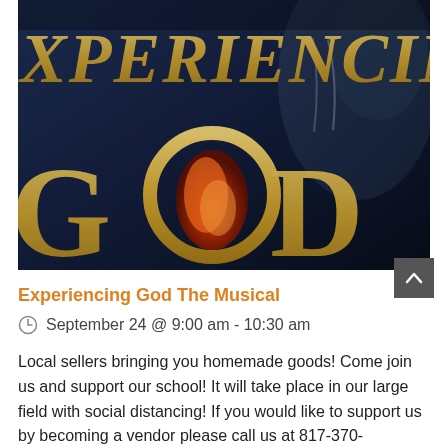[Figure (photo): Book cover image for 'Experiencing God The Musical' showing gold letters 'XPERIENCIN' at top and 'GOD' at bottom with a flame inside circular letter O, dark blue background with a robed figure]
Experiencing God The Musical
September 24 @ 9:00 am  -  10:30 am
Local sellers bringing you homemade goods! Come join us and support our school! It will take place in our large field with social distancing! If you would like to support us by becoming a vendor please call us at 817-370-